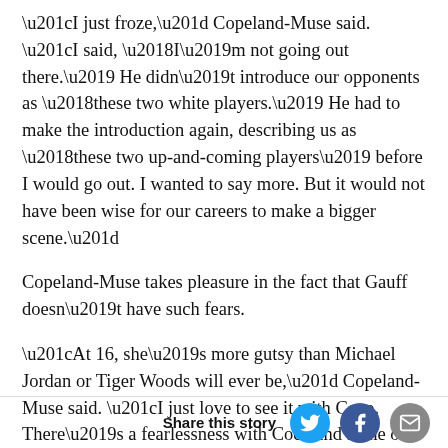“I just froze,” Copeland-Muse said. “I said, ‘I’m not going out there.’ He didn’t introduce our opponents as ‘these two white players.’ He had to make the introduction again, describing us as ‘these two up-and-coming players’ before I would go out. I wanted to say more. But it would not have been wise for our careers to make a bigger scene.”
Copeland-Muse takes pleasure in the fact that Gauff doesn’t have such fears.
“At 16, she’s more gutsy than Michael Jordan or Tiger Woods will ever be,” Copeland-Muse said. “I just love to see it with Coco. There’s a fearlessness with Coco and some of these younger athletes that puts out the message, ‘We’re not gonna be polite. We’re going to tell you exactly what’s happening in this word.’ ”
Share this story